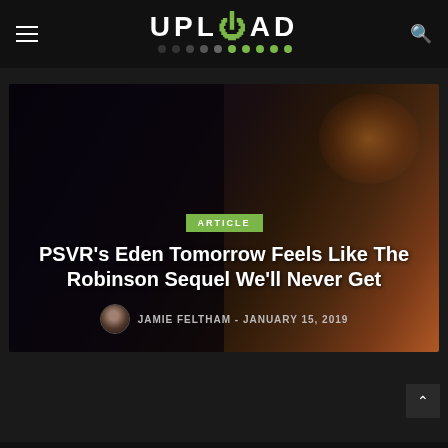UPLOAD
[Figure (screenshot): Dark atmospheric VR game screenshot showing a shadowy figure with alien/sci-fi elements, orange energy effects in background]
ARTICLE
PSVR’s Eden Tomorrow Feels Like The Robinson Sequel We’ll Never Get
JAMIE FELTHAM - JANUARY 15, 2019